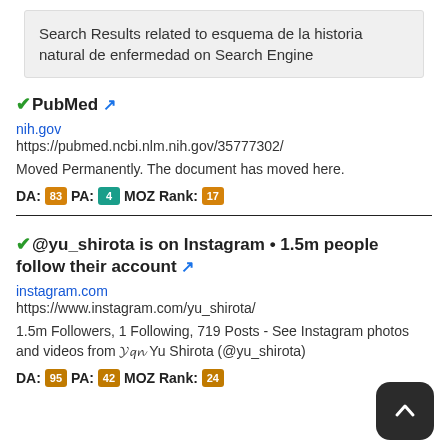Search Results related to esquema de la historia natural de enfermedad on Search Engine
✓PubMed 🔗
nih.gov
https://pubmed.ncbi.nlm.nih.gov/35777302/
Moved Permanently. The document has moved here.
DA: [83] PA: [4] MOZ Rank: [17]
✓@yu_shirota is on Instagram • 1.5m people follow their account 🔗
instagram.com
https://www.instagram.com/yu_shirota/
1.5m Followers, 1 Following, 719 Posts - See Instagram photos and videos from 𝓨𝓾 Shirota (@yu_shirota)
DA: [95] PA: [42] MOZ Rank: [24]